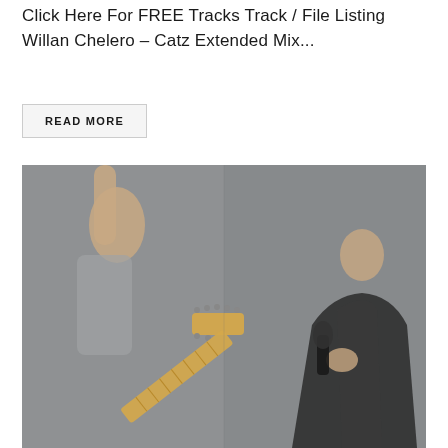Click Here For FREE Tracks Track / File Listing Willan Chelero – Catz Extended Mix...
READ MORE
[Figure (photo): Two musicians on a grey background: left side shows a person's arm and the neck/headstock of a Fender Stratocaster electric guitar with maple fretboard; right side shows a person in a leather jacket holding a microphone]